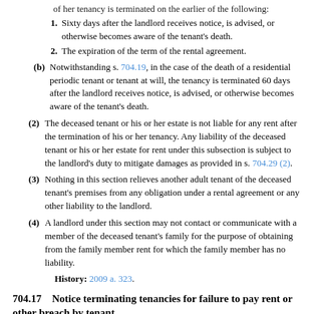or her tenancy is terminated on the earlier of the following:
1. Sixty days after the landlord receives notice, is advised, or otherwise becomes aware of the tenant's death.
2. The expiration of the term of the rental agreement.
(b) Notwithstanding s. 704.19, in the case of the death of a residential periodic tenant or tenant at will, the tenancy is terminated 60 days after the landlord receives notice, is advised, or otherwise becomes aware of the tenant's death.
(2) The deceased tenant or his or her estate is not liable for any rent after the termination of his or her tenancy. Any liability of the deceased tenant or his or her estate for rent under this subsection is subject to the landlord's duty to mitigate damages as provided in s. 704.29 (2).
(3) Nothing in this section relieves another adult tenant of the deceased tenant's premises from any obligation under a rental agreement or any other liability to the landlord.
(4) A landlord under this section may not contact or communicate with a member of the deceased tenant's family for the purpose of obtaining from the family member rent for which the family member has no liability.
History: 2009 a. 323.
704.17   Notice terminating tenancies for failure to pay rent or other breach by tenant.
(1g) Definition. In this section, "rent" includes any rent that is